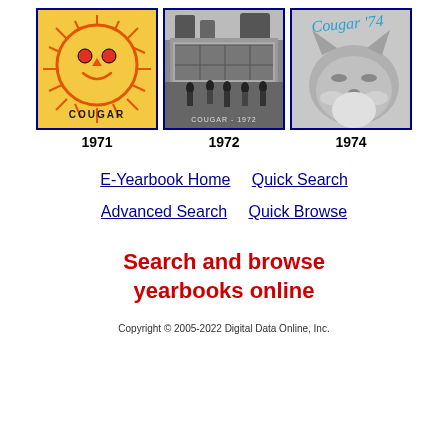[Figure (illustration): Three yearbook covers shown side by side: 1971 Cougar (sun face illustration), 1972 Cougar (black and white photo of students walking), 1974 Cougar '74 (black and white photo of a cougar)]
1971
1972
1974
E-Yearbook Home  Quick Search  Advanced Search  Quick Browse
Search and browse yearbooks online
Copyright © 2005-2022 Digital Data Online, Inc.